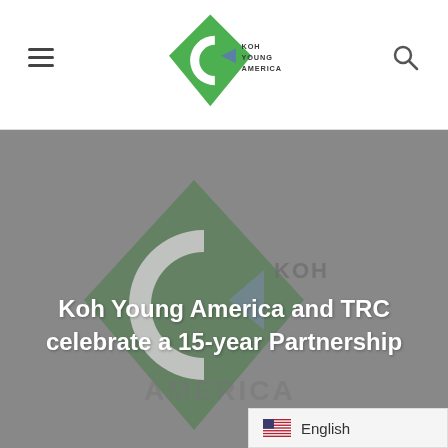Koh Young America – navigation header with logo, hamburger menu, and search icon
[Figure (illustration): Koh Young America logo watermark overlaid on grey hero background]
Koh Young America and TRC celebrate a 15-year Partnership
English